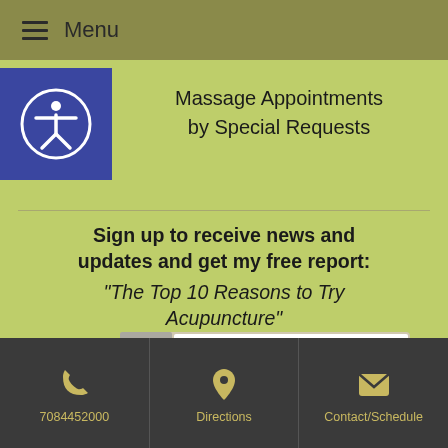Menu
Massage Appointments by Special Requests
Sign up to receive news and updates and get my free report: “The Top 10 Reasons to Try Acupuncture”
[Figure (illustration): A spiral-bound booklet with text 'Top 10 Reasons to Try Acupuncture' on the cover]
7084452000 | Directions | Contact/Schedule